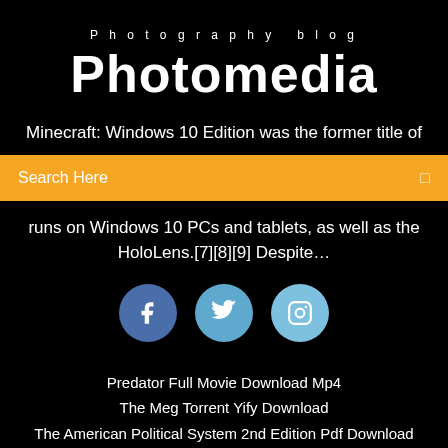Photography blog
Photomedia
Minecraft: Windows 10 Edition was the former title of
Search Here
runs on Windows 10 PCs and tablets, as well as the HoloLens.[7][8][9] Despite…
[Figure (infographic): Social media icons: Facebook, Twitter, Instagram as colored circles]
Predator Full Movie Download Mp4
The Meg Torrent Yify Download
The American Political System 2nd Edition Pdf Download